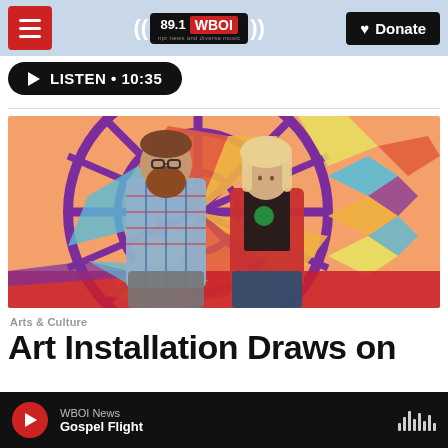89.1 WBOI — npr news and diverse music | Donate
LISTEN • 10:35
[Figure (photo): Two people standing in front of a colorful mural with geometric patterns in purple, orange, red, blue, and yellow. A man with a beard and glasses wearing a plaid shirt stands on the left; a woman with blonde hair wearing a red cardigan stands on the right. They are looking at each other.]
Arts & Culture
Art Installation Draws on
WBOI News — Gospel Flight